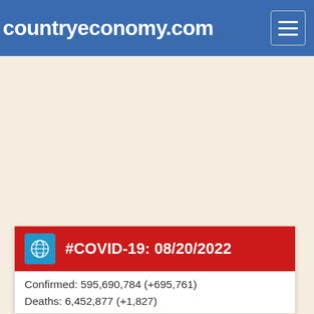countryeconomy.com
#COVID-19: 08/20/2022
Confirmed: 595,690,784 (+695,761)
Deaths: 6,452,877 (+1,827)